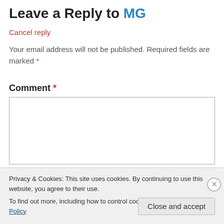Leave a Reply to MG
Cancel reply
Your email address will not be published. Required fields are marked *
Comment *
Privacy & Cookies: This site uses cookies. By continuing to use this website, you agree to their use.
To find out more, including how to control cookies, see here: Cookie Policy
Close and accept